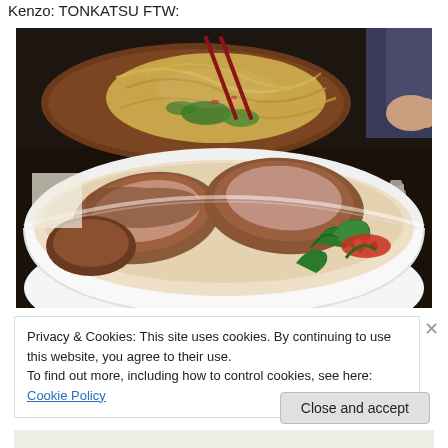Kenzo: TONKATSU FTW:
[Figure (photo): Food photograph showing a white bowl with tonkatsu (breaded pork cutlet) in broth with green garnishes in the foreground, and a sizzling plate of yakisoba noodles with vegetables in the background.]
Privacy & Cookies: This site uses cookies. By continuing to use this website, you agree to their use.
To find out more, including how to control cookies, see here: Cookie Policy
Close and accept